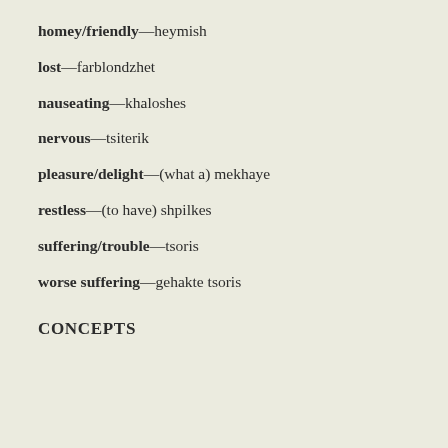homey/friendly—heymish
lost—farblondzhet
nauseating—khaloshes
nervous—tsiterik
pleasure/delight—(what a) mekhaye
restless—(to have) shpilkes
suffering/trouble—tsoris
worse suffering—gehakte tsoris
CONCEPTS